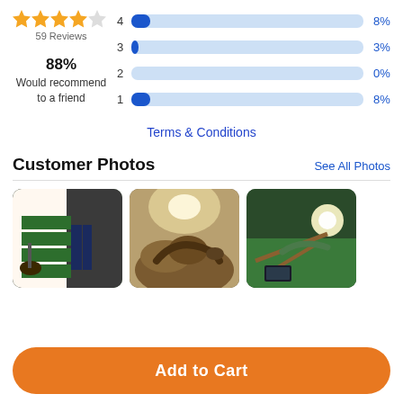[Figure (other): Star rating display: 4.5 out of 5 stars (orange stars)]
59 Reviews
88%
Would recommend to a friend
[Figure (bar-chart): Rating distribution]
Terms & Conditions
Customer Photos
See All Photos
[Figure (photo): Customer photo 1: green carpet stairs with lamp]
[Figure (photo): Customer photo 2: reptile in terrarium with wood]
[Figure (photo): Customer photo 3: reptile enclosure with green mat and light]
Add to Cart